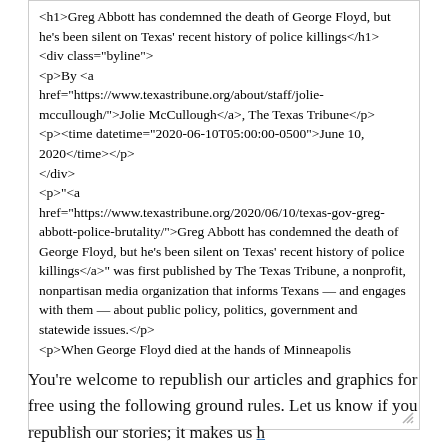<h1>Greg Abbott has condemned the death of George Floyd, but he's been silent on Texas' recent history of police killings</h1>
<div class="byline">
<p>By <a href="https://www.texastribune.org/about/staff/jolie-mccullough/">Jolie McCullough</a>, The Texas Tribune</p>
<p><time datetime="2020-06-10T05:00:00-0500">June 10, 2020</time></p>
</div>
<p>"<a href="https://www.texastribune.org/2020/06/10/texas-gov-greg-abbott-police-brutality/">Greg Abbott has condemned the death of George Floyd, but he's been silent on Texas' recent history of police killings</a>" was first published by The Texas Tribune, a nonprofit, nonpartisan media organization that informs Texans — and engages with them — about public policy, politics, government and statewide issues.</p>
<p>When George Floyd died at the hands of Minneapolis
You're welcome to republish our articles and graphics for free using the following ground rules. Let us know if you republish our stories; it makes us happy.